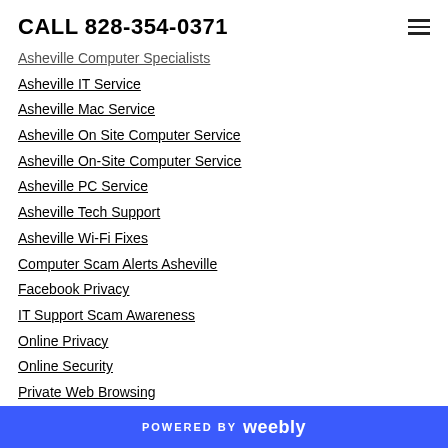CALL 828-354-0371
Asheville Computer Specialists
Asheville IT Service
Asheville Mac Service
Asheville On Site Computer Service
Asheville On-Site Computer Service
Asheville PC Service
Asheville Tech Support
Asheville Wi-Fi Fixes
Computer Scam Alerts Asheville
Facebook Privacy
IT Support Scam Awareness
Online Privacy
Online Security
Private Web Browsing
Smart TV
POWERED BY weebly